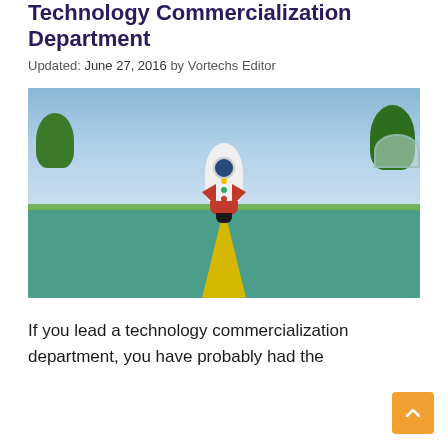Technology Commercialization Department
Updated: June 27, 2016 by Vortechs Editor
[Figure (photo): A toy rocket sitting on a teal running track with a yellow line, trees and sky in the background, and a glass dome structure to the right.]
If you lead a technology commercialization department, you have probably had the